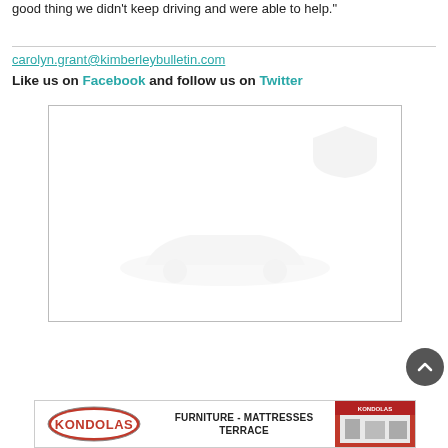good thing we didn't keep driving and were able to help."
carolyn.grant@kimberleybulletin.com
Like us on Facebook and follow us on Twitter
[Figure (other): A faded/watermarked image placeholder showing a shield logo at top right and a car silhouette at bottom center, inside a bordered box.]
[Figure (other): Kondolas Furniture - Mattresses Terrace advertisement banner with logo on left, text in center, and store photo on right.]